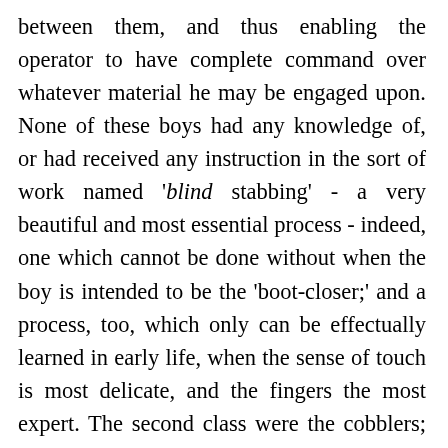between them, and thus enabling the operator to have complete command over whatever material he may be engaged upon. None of these boys had any knowledge of, or had received any instruction in the sort of work named 'blind stabbing' - a very beautiful and most essential process - indeed, one which cannot be done without when the boy is intended to be the 'boot-closer;' and a process, too, which only can be effectually learned in early life, when the sense of touch is most delicate, and the fingers the most expert. The second class were the cobblers; and these I found numbered seven, and they appeared to take much more delight in making the hammer sound, in beating the leather on the 'lapstone,' than in putting in stitches. Some were sewing patches on the upper leathers, or drawing together rents; but the greater part, as I have said, kept striking away on the stone; while